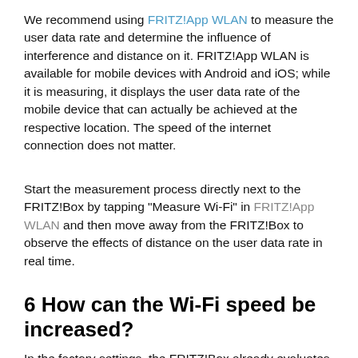We recommend using FRITZ!App WLAN to measure the user data rate and determine the influence of interference and distance on it. FRITZ!App WLAN is available for mobile devices with Android and iOS; while it is measuring, it displays the user data rate of the mobile device that can actually be achieved at the respective location. The speed of the internet connection does not matter.
Start the measurement process directly next to the FRITZ!Box by tapping "Measure Wi-Fi" in FRITZ!App WLAN and then move away from the FRITZ!Box to observe the effects of distance on the user data rate in real time.
6 How can the Wi-Fi speed be increased?
In the factory settings, the FRITZ!Box already evaluates its Wi-Fi environment and the quality of the connection